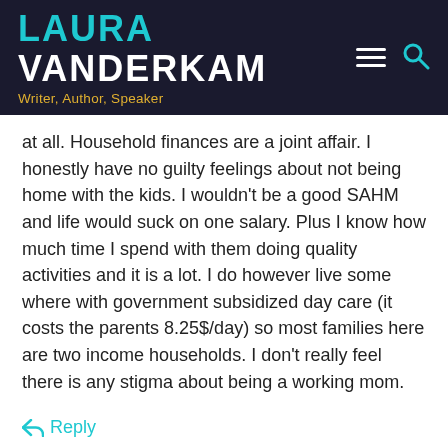LAURA VANDERKAM — Writer, Author, Speaker
at all. Household finances are a joint affair. I honestly have no guilty feelings about not being home with the kids. I wouldn't be a good SAHM and life would suck on one salary. Plus I know how much time I spend with them doing quality activities and it is a lot. I do however live some where with government subsidized day care (it costs the parents 8.25$/day) so most families here are two income households. I don't really feel there is any stigma about being a working mom.
↩ Reply